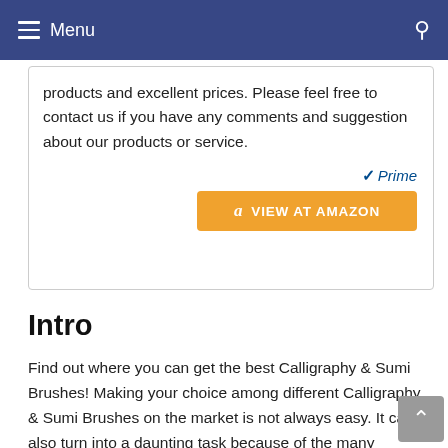Menu
products and excellent prices. Please feel free to contact us if you have any comments and suggestion about our products or service.
[Figure (logo): Amazon Prime badge with checkmark and 'Prime' text in blue italic, followed by an orange 'VIEW AT AMAZON' button with Amazon logo]
Intro
Find out where you can get the best Calligraphy & Sumi Brushes! Making your choice among different Calligraphy & Sumi Brushes on the market is not always easy. It can also turn into a daunting task because of the many websites offering the same type of product. On this page,